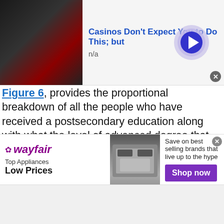[Figure (photo): Top advertisement banner: photo of person in dark jacket on left, text 'Casinos Don't Expect You to Do This; but' with 'n/a' below, and a circular arrow button on right]
Figure 6, provides the proportional breakdown of all the people who have received a postsecondary education along with what the level of advanced degree that was obtained. Note that these categories do not include any type professional development type activities such as those related to maintaining professional credentials in workshop lessons. Note Professional Degree includes medical, dental, lawyers, etc. ZIP code 20714 has one of the largest proportions of percent of people with an associate degree at 51% of the total and is ranked #3. Only #2 20779 (53%), and #1 20736 (57%) are larger. Second, it has the second smallest in order of percent of people with an associate degree of all the other zip codes
[Figure (photo): Bottom advertisement banner: Wayfair logo on left with 'Top Appliances Low Prices' text, appliance image in center, 'Save on best selling brands that live up to the hype' text with purple 'Shop now' button on right]